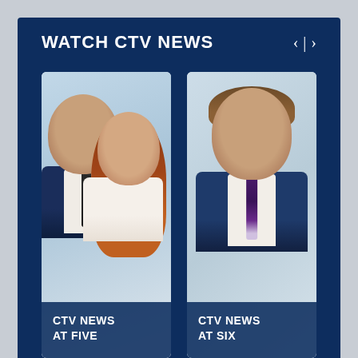WATCH CTV NEWS
[Figure (photo): Two news anchors — a male anchor in dark suit with tie on the left, and a female anchor with red hair in white blazer on the right. Label reads: CTV NEWS AT FIVE]
CTV NEWS AT FIVE
[Figure (photo): Male news anchor in blue suit with purple tie, smiling. Label reads: CTV NEWS AT SIX]
CTV NEWS AT SIX